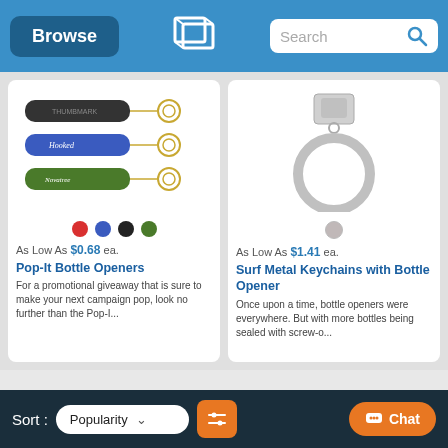Browse | Search
[Figure (photo): Three bottle opener keychains (black, blue, green) with key rings and custom logos]
As Low As $0.68 ea.
Pop-It Bottle Openers
For a promotional giveaway that is sure to make your next campaign pop, look no further than the Pop-I...
[Figure (photo): Silver metal keychain with circle ring and bottle opener tab]
As Low As $1.41 ea.
Surf Metal Keychains with Bottle Opener
Once upon a time, bottle openers were everywhere. But with more bottles being sealed with screw-o...
Sort: Popularity | Filter | Chat